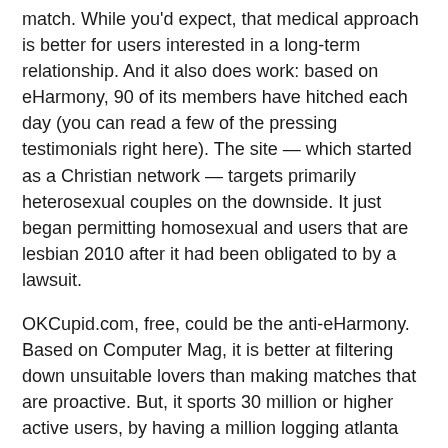match. While you'd expect, that medical approach is better for users interested in a long-term relationship. And it also does work: based on eHarmony, 90 of its members have hitched each day (you can read a few of the pressing testimonials right here). The site — which started as a Christian network — targets primarily heterosexual couples on the downside. It just began permitting homosexual and users that are lesbian 2010 after it had been obligated to by a lawsuit.
OKCupid.com, free, could be the anti-eHarmony. Based on Computer Mag, it is better at filtering down unsuitable lovers than making matches that are proactive. But, it sports 30 million or higher active users, by having a million logging atlanta divorce attorneys time. That offers that you chance that is good of a date, but based on the Telegraph, additionally causes it to be “a total hive of polyamorous kinksters, furries yet others. during the odd end regarding the dating pool.”